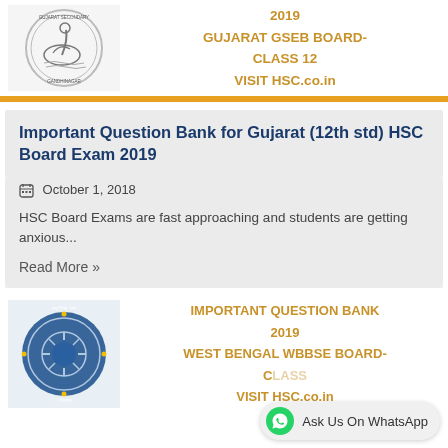[Figure (logo): Gujarat Secondary and Higher Secondary Education Board (GSEB) circular logo with swan emblem]
2019
GUJARAT GSEB BOARD-
CLASS 12
VISIT HSC.co.in
Important Question Bank for Gujarat (12th std) HSC Board Exam 2019
October 1, 2018
HSC Board Exams are fast approaching and students are getting anxious...
Read More »
[Figure (logo): West Bengal Board of Secondary Education (WBBSE) circular logo]
IMPORTANT QUESTION BANK
2019
WEST BENGAL WBBSE BOARD-
CLASS
VISIT HSC.co.in
Ask Us On WhatsApp